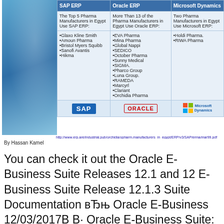[Figure (table-as-image): Comparison table of SAP ERP, Oracle ERP, and Microsoft Dynamics usage among Pharma Manufacturers in Egypt, with logos at the bottom. Left side has a blue decorative image.]
By Hassan Kamel
You can check it out the Oracle E-Business Suite Releases 12.1 and 12 E-Business Suite Release 12.1.3 Suite Documentation вЂњ Oracle E-Business 12/03/2017В В· Oracle E-Business Suite: the future (Release 12.3 is (not just for E-Business Suite on pre-R12.1 EBS